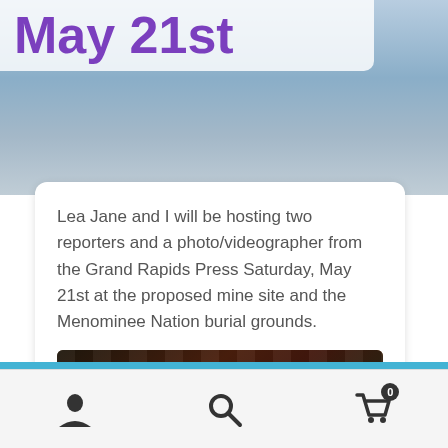May 21st
Lea Jane and I will be hosting two reporters and a photo/videographer from the Grand Rapids Press Saturday, May 21st at the proposed mine site and the Menominee Nation burial grounds.
[Figure (screenshot): Video thumbnail showing 'Tight Lines and Gnarly Ced...' with avatar icon and tree/forest background]
Visit our new online store above!
Dismiss
[Figure (infographic): Bottom navigation bar with user icon, search icon, and shopping cart icon with badge showing 0]